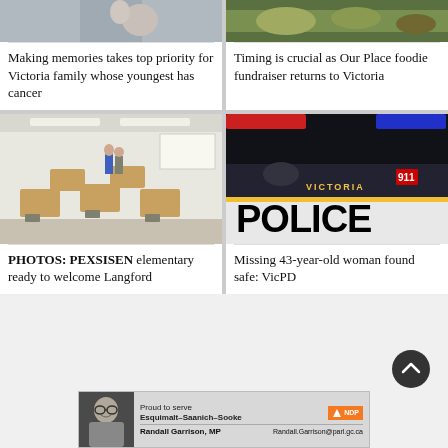[Figure (photo): Woman holding a baby or infant, partial view at top of card]
Making memories takes top priority for Victoria family whose youngest has cancer
[Figure (photo): Food items, vegetables and produce on a table for a fundraiser]
Timing is crucial as Our Place foodie fundraiser returns to Victoria
[Figure (photo): Interior of a classroom with desks and students setting up]
PHOTOS: PEXSISEN elementary ready to welcome Langford
[Figure (photo): Close-up of Victoria Police car door with 911 markings and Canadian flag]
Missing 43-year-old woman found safe: VicPD
[Figure (photo): Advertisement photo of Randall Garrison MP]
Proud to serve Esquimalt–Saanich–Sooke
Randall Garrison, MP   Randall.Garrison@parl.gc.ca